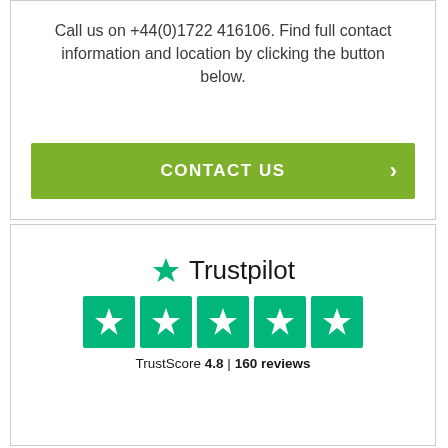Call us on +44(0)1722 416106. Find full contact information and location by clicking the button below.
[Figure (other): Green CONTACT US button with right-pointing chevron arrow]
[Figure (logo): Trustpilot logo with green star icon and five green star rating boxes showing TrustScore 4.8 | 160 reviews]